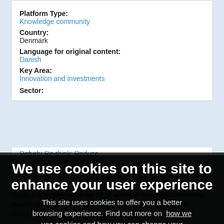Platform Type: Knowledge community
Country: Denmark
Language for original content: Danish
Key Area: Innovation and investments
Sector:
Refurb: Re-think; Reduce...
Platform website:
VCØB videncenter - Cirkulær økonomi i Byggeriet
VCØB is a knowledge center for all actors of the construction value chain in Denmark. They help identify... construction, through increased knowledge sharing and dialogue.
[Figure (screenshot): Cookie consent overlay banner on a webpage. Title reads 'We use cookies on this site to enhance your user experience'. Body text mentions browsing experience and links to cookie policy. Two buttons: 'OK, I agree' (orange) and 'Decline' (gray).]
Ultimately, VCØB... flexible market for the circular economy. It is working on: